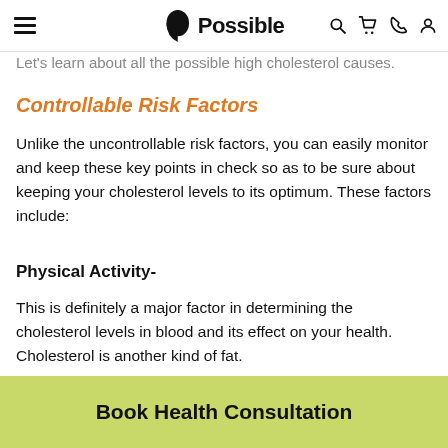Possible
Let's learn about all the possible high cholesterol causes.
Controllable Risk Factors
Unlike the uncontrollable risk factors, you can easily monitor and keep these key points in check so as to be sure about keeping your cholesterol levels to its optimum. These factors include:
Physical Activity-
This is definitely a major factor in determining the cholesterol levels in blood and its effect on your health. Cholesterol is another kind of fat.
Book Health Consultation